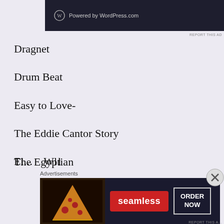[Figure (screenshot): WordPress.com powered banner ad in dark navy background]
REPORT THIS AD
Dragnet
Drum Beat
Easy to Love-
The Eddie Cantor Story
The Egyptian
El...
Advertisements
[Figure (screenshot): Seamless food delivery advertisement with pizza image, Seamless logo, and ORDER NOW button]